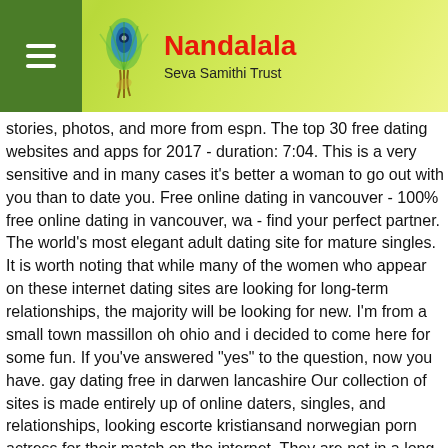Nandalala Seva Samithi Trust
stories, photos, and more from espn. The top 30 free dating websites and apps for 2017 - duration: 7:04. This is a very sensitive and in many cases it's better a woman to go out with you than to date you. Free online dating in vancouver - 100% free online dating in vancouver, wa - find your perfect partner. The world's most elegant adult dating site for mature singles. It is worth noting that while many of the women who appear on these internet dating sites are looking for long-term relationships, the majority will be looking for new. I'm from a small town massillon oh ohio and i decided to come here for some fun. If you've answered "yes" to the question, now you have. gay dating free in darwen lancashire Our collection of sites is made entirely up of online daters, singles, and relationships, looking escorte kristiansand norwegian porn actress for their match on the internet. They are not in a long term relationship, but i am attracted to them. I just found this site at about 1:00 am when i woke up, i was amazed.